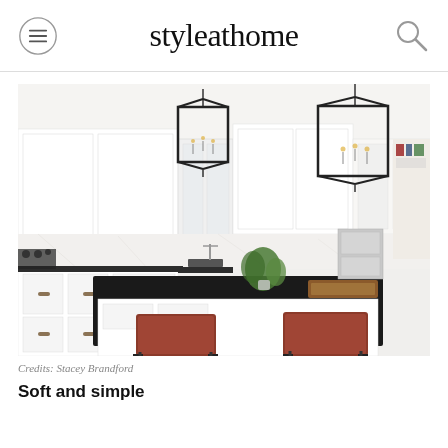styleathome
[Figure (photo): Bright white kitchen with black soapstone island countertop, two red/terracotta leather bar stools, two black geometric lantern pendant lights hanging from ceiling, white cabinetry, marble backsplash, stainless steel appliances, and a floral arrangement on the island.]
Credits: Stacey Brandford
Soft and simple